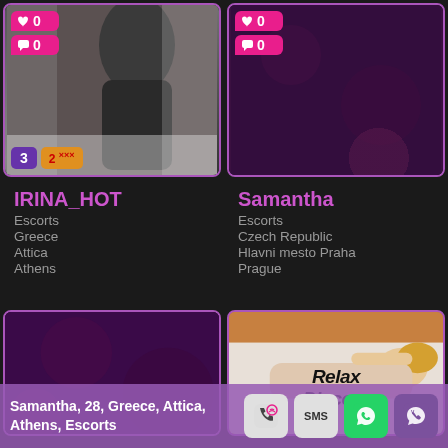[Figure (photo): Top-left profile card for IRINA_HOT showing a person photo with heart badge (0), comment badge (0), image count badge (3), and XXX badge (2)]
IRINA_HOT
Escorts
Greece
Attica
Athens
[Figure (photo): Top-right profile card for Samantha showing dark purple background with heart badge (0) and comment badge (0)]
Samantha
Escorts
Czech Republic
Hlavni mesto Praha
Prague
[Figure (photo): Bottom-left card showing dark purple patterned background]
[Figure (photo): Bottom-right card showing a blonde woman lying down with RelaxDir.com overlay text]
Samantha, 28, Greece, Attica, Athens, Escorts
SMS
[Figure (illustration): Call button icon, SMS button, WhatsApp button, Viber button in footer]